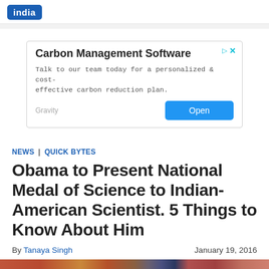india
[Figure (other): Advertisement banner for Carbon Management Software by Gravity with an Open button]
NEWS | QUICK BYTES
Obama to Present National Medal of Science to Indian-American Scientist. 5 Things to Know About Him
By Tanaya Singh    January 19, 2016
[Figure (photo): Partial photo of a person, article thumbnail image at bottom of page]